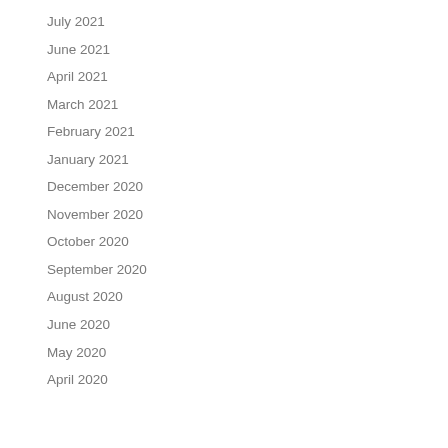July 2021
June 2021
April 2021
March 2021
February 2021
January 2021
December 2020
November 2020
October 2020
September 2020
August 2020
June 2020
May 2020
April 2020